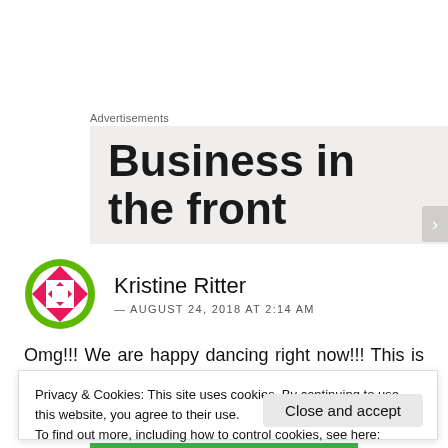Advertisements
[Figure (other): Advertisement banner showing text 'Business in the front' on a beige/grey background]
Kristine Ritter
— AUGUST 24, 2018 AT 2:14 AM
Omg!!! We are happy dancing right now!!! This is amazingly awesome news!!! Praise God!!!
Privacy & Cookies: This site uses cookies. By continuing to use this website, you agree to their use.
To find out more, including how to control cookies, see here:
Cookie Policy